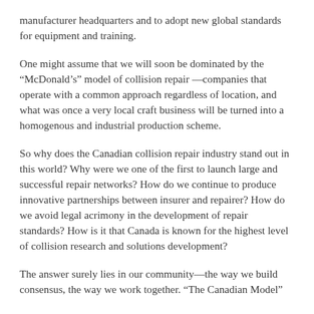manufacturer headquarters and to adopt new global standards for equipment and training.
One might assume that we will soon be dominated by the “McDonald’s” model of collision repair —companies that operate with a common approach regardless of location, and what was once a very local craft business will be turned into a homogenous and industrial production scheme.
So why does the Canadian collision repair industry stand out in this world? Why were we one of the first to launch large and successful repair networks? How do we continue to produce innovative partnerships between insurer and repairer? How do we avoid legal acrimony in the development of repair standards? How is it that Canada is known for the highest level of collision research and solutions development?
The answer surely lies in our community—the way we build consensus, the way we work together. “The Canadian Model”